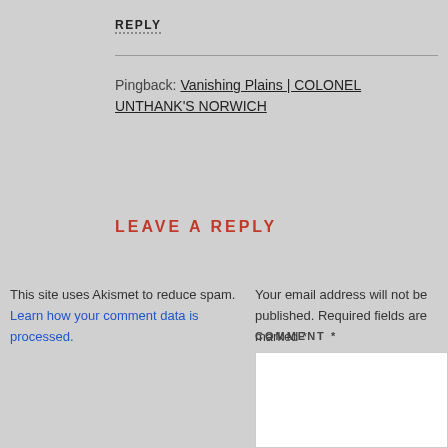REPLY
Pingback: Vanishing Plains | COLONEL UNTHANK'S NORWICH
LEAVE A REPLY
This site uses Akismet to reduce spam. Learn how your comment data is processed.
Your email address will not be published. Required fields are marked *
COMMENT *